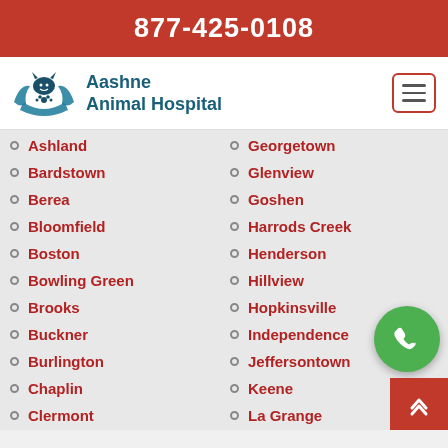877-425-0108
[Figure (logo): Aashne Animal Hospital logo with animal silhouette and hands]
Aashne Animal Hospital
Ashland
Bardstown
Berea
Bloomfield
Boston
Bowling Green
Brooks
Buckner
Burlington
Chaplin
Clermont
Covington
Cove Creek
Georgetown
Glenview
Goshen
Harrods Creek
Henderson
Hillview
Hopkinsville
Independence
Jeffersontown
Keene
La Grange
Lebanon Junction
Lexington